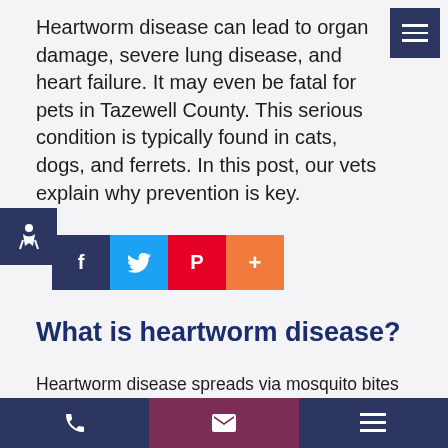Heartworm disease can lead to organ damage, severe lung disease, and heart failure. It may even be fatal for pets in Tazewell County. This serious condition is typically found in cats, dogs, and ferrets. In this post, our vets explain why prevention is key.
[Figure (other): Accessibility icon button (wheelchair symbol) on dark navy background]
[Figure (other): Social sharing buttons row: Facebook (navy), Twitter (blue), Pinterest (red), More (orange)]
What is heartworm disease?
Heartworm disease spreads via mosquito bites and is primarily caused by the parasitic worm dirogilaria immitis.
Phone | Email | Menu